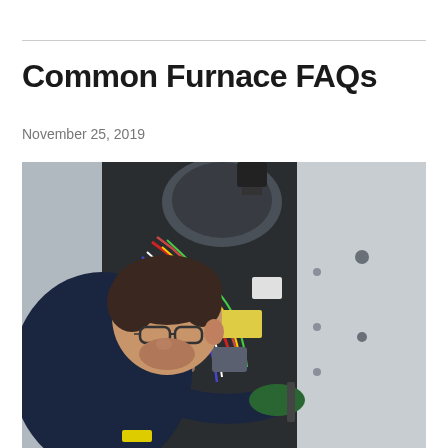Common Furnace FAQs
November 25, 2019
[Figure (photo): A technician in dark clothing and green gloves leans in close to inspect the interior of an open furnace unit, examining wiring and components inside the metal cabinet.]